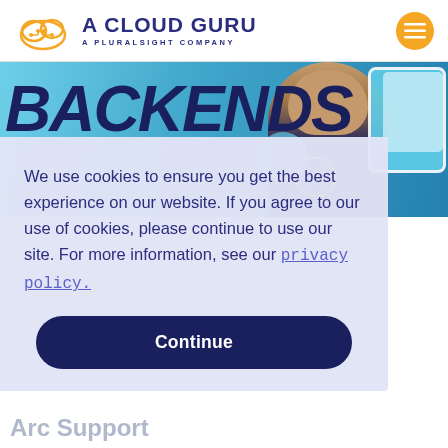[Figure (logo): A Cloud Guru logo with orange cloud icon and dark blue text reading 'A CLOUD GURU / A PLURALSIGHT COMPANY']
[Figure (photo): Hero banner image with large bold italic text 'BACKENDS' overlaid on a blue background, with a person (man) visible on the right side next to a tablet device graphic]
We use cookies to ensure you get the best experience on our website. If you agree to our use of cookies, please continue to use our site. For more information, see our privacy policy.
Continue
Arc Support